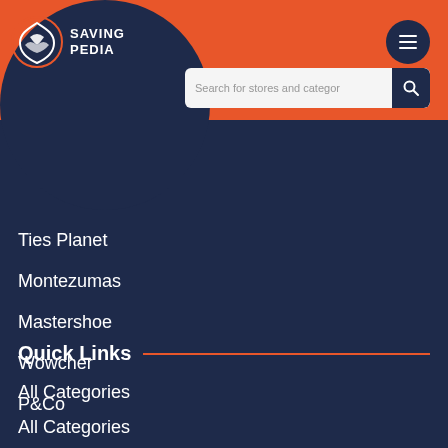[Figure (logo): SavingPedia logo — shield icon with 'SAVING PEDIA' text in white on dark navy circle, set against orange header bar]
Ties Planet
Montezumas
Mastershoe
Wowcher
P&Co
Quick Links
All Categories
All Categories
Contact Us